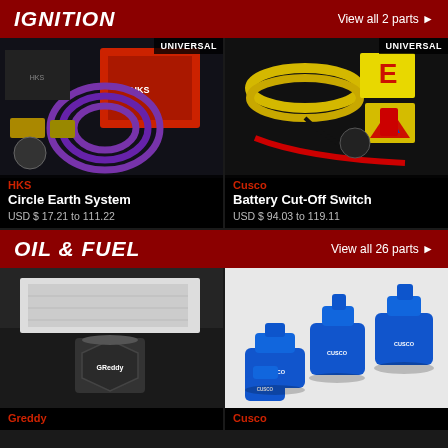IGNITION  View all 2 parts ▶
[Figure (photo): HKS Circle Earth System product photo showing purple wiring coil with HKS branded box, labeled UNIVERSAL]
[Figure (photo): Cusco Battery Cut-Off Switch product photo showing switch components with wiring and stickers, labeled UNIVERSAL]
HKS
Circle Earth System
USD $ 17.21 to 111.22
Cusco
Battery Cut-Off Switch
USD $ 94.03 to 119.11
OIL & FUEL  View all 26 parts ▶
[Figure (photo): Greddy magnetic oil drain plug product close-up photo in black and white tones]
[Figure (photo): Cusco blue anodized magnetic drain plugs product photo showing multiple blue plugs with CUSCO branding]
Greddy
Cusco